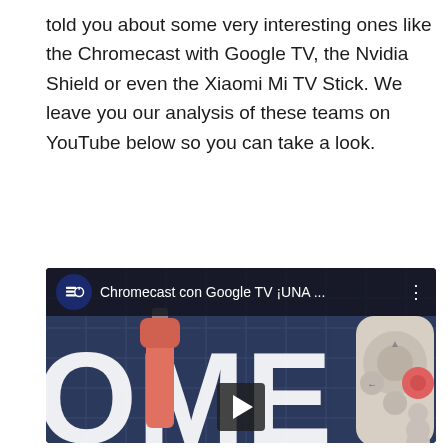told you about some very interesting ones like the Chromecast with Google TV, the Nvidia Shield or even the Xiaomi Mi TV Stick. We leave you our analysis of these teams on YouTube below so you can take a look.
[Figure (screenshot): YouTube video embed showing a Chromecast with Google TV device and remote control on a dark blue gridded surface. The video bar shows channel icons and title 'Chromecast con Google TV ¡UNA ...' with a three-dot menu. A play button is visible at the bottom center.]